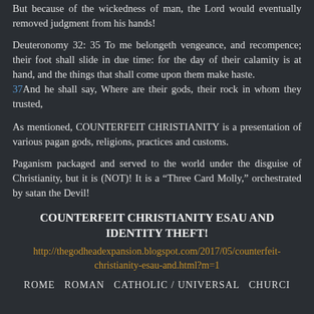But because of the wickedness of man, the Lord would eventually removed judgment from his hands!
Deuteronomy 32: 35 To me belongeth vengeance, and recompence; their foot shall slide in due time: for the day of their calamity is at hand, and the things that shall come upon them make haste. 37And he shall say, Where are their gods, their rock in whom they trusted,
As mentioned, COUNTERFEIT CHRISTIANITY is a presentation of various pagan gods, religions, practices and customs.
Paganism packaged and served to the world under the disguise of Christianity, but it is (NOT)! It is a "Three Card Molly," orchestrated by satan the Devil!
COUNTERFEIT CHRISTIANITY ESAU AND IDENTITY THEFT!
http://thegodheadexpansion.blogspot.com/2017/05/counterfeit-christianity-esau-and.html?m=1
ROME   ROMAN   CATHOLIC / UNIVERSAL   CHURCI